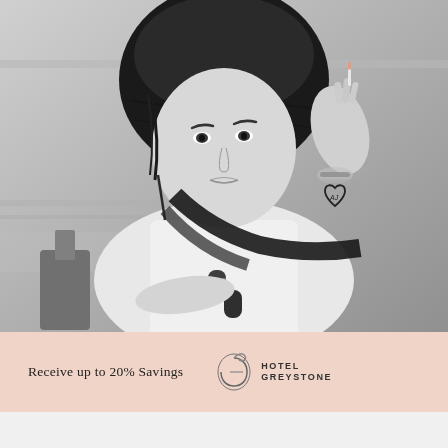[Figure (photo): Black and white photograph of a young woman wearing a dark head scarf and white t-shirt with sunglasses hanging from the neckline. She has bracelets on her wrist and holds her hand near her face. A small heart tattoo with initials is visible on her upper arm. Background is blurred interior setting.]
[Figure (photo): Advertisement banner with pink/salmon background. Left side shows text 'Receive up to 20% Savings' with Hotel Greystone logo (stylized G with swan). Right side shows a color photo of a hotel pool area with food/drinks displayed.]